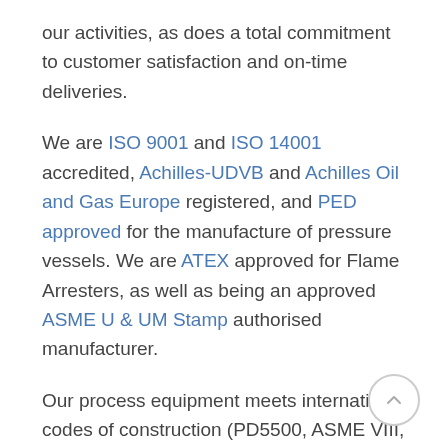our activities, as does a total commitment to customer satisfaction and on-time deliveries.
We are ISO 9001 and ISO 14001 accredited, Achilles-UDVB and Achilles Oil and Gas Europe registered, and PED approved for the manufacture of pressure vessels. We are ATEX approved for Flame Arresters, as well as being an approved ASME U & UM Stamp authorised manufacturer.
Our process equipment meets international codes of construction (PD5500, ASME VIII, EN13445, PED 14/68/EU) and our welders are coded and third party approved to international standards (EN287 and ASME IX). With over 250 weld procedure qualifications in various materials, we are well